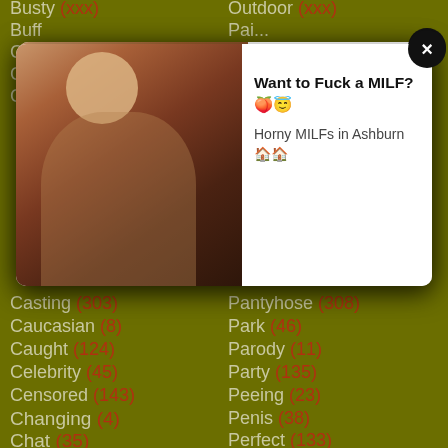Busty (cut off)
Buff (cut off)
Ca... (cut off)
Ca... (cut off)
Ca... (cut off)
Outdoor (cut off)
Pai... (cut off)
[Figure (screenshot): Ad popup overlay: Want to Fuck a MILF? with emoji, Horny MILFs in Ashburn with emoji, with a woman photo on left and close X button]
Casting (303)
Caucasian (8)
Caught (124)
Celebrity (45)
Censored (143)
Changing (4)
Chat (35)
Cheating (323)
Cheerleader (117)
Chick (91)
Chinese (70)
Chubby (138)
Chunky (8)
Pantyhose (308)
Park (46)
Parody (11)
Party (135)
Peeing (23)
Penis (38)
Perfect (133)
Pervert (55)
Petite (347)
Philippine (1)
Phone (33)
Pickup (30)
Piercing (89)